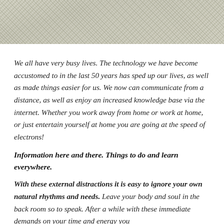[Figure (photo): Close-up grainy texture photo, likely sand or stone surface, in grayscale/muted tones, cropped at top of page]
We all have very busy lives. The technology we have become accustomed to in the last 50 years has sped up our lives, as well as made things easier for us. We now can communicate from a distance, as well as enjoy an increased knowledge base via the internet. Whether you work away from home or work at home, or just entertain yourself at home you are going at the speed of electrons!
Information here and there. Things to do and learn everywhere.
With these external distractions it is easy to ignore your own natural rhythms and needs. Leave your body and soul in the back room so to speak. After a while with these immediate demands on your time and energy you